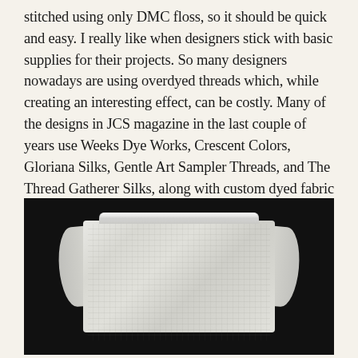stitched using only DMC floss, so it should be quick and easy. I really like when designers stick with basic supplies for their projects. So many designers nowadays are using overdyed threads which, while creating an interesting effect, can be costly. Many of the designs in JCS magazine in the last couple of years use Weeks Dye Works, Crescent Colors, Gloriana Silks, Gentle Art Sampler Threads, and The Thread Gatherer Silks, along with custom dyed fabric from Polstitches. Being a shop owner, I know that many stitchers cannot afford these items, and some simply don't want to try using them. So I am glad to see some designers sticking with the basics, like in this design.
[Figure (photo): A photograph of a packaged piece of white cross-stitch fabric (likely linen or evenweave) wrapped in plastic, shown against a black background. The fabric appears to be folded and sealed with the plastic wrap creating folds on the left and right sides.]